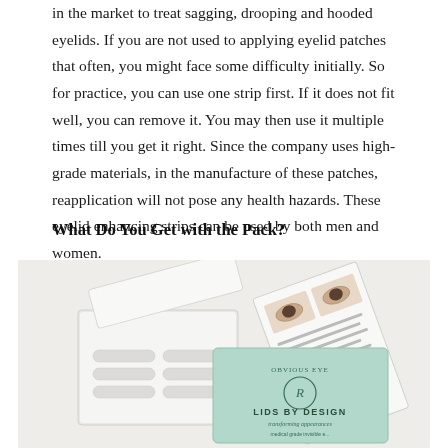in the market to treat sagging, drooping and hooded eyelids. If you are not used to applying eyelid patches that often, you might face some difficulty initially. So for practice, you can use one strip first. If it does not fit well, you can remove it. You may then use it multiple times till you get it right. Since the company uses high-grade materials, in the manufacture of these patches, reapplication will not pose any health hazards. These eyelid enhancing strips can be used by both men and women.
What Do You Get with the Pack?
[Figure (photo): Photo of Lids by Design product packaging — a white open box containing eyelid strips, a mint green box with the Lids by Design logo and branding, and an instruction card showing before/after eye photos.]